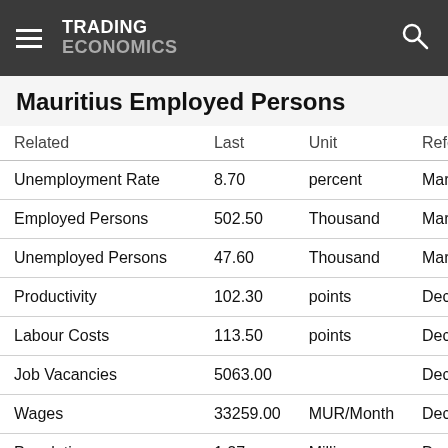TRADING ECONOMICS
Mauritius Employed Persons
| Related | Last | Unit | Reference |
| --- | --- | --- | --- |
| Unemployment Rate | 8.70 | percent | Mar 2022 |
| Employed Persons | 502.50 | Thousand | Mar 2022 |
| Unemployed Persons | 47.60 | Thousand | Mar 2022 |
| Productivity | 102.30 | points | Dec 2021 |
| Labour Costs | 113.50 | points | Dec 2021 |
| Job Vacancies | 5063.00 |  | Dec 2019 |
| Wages | 33259.00 | MUR/Month | Dec 2020 |
| Population | 1.27 | Million | Dec 2021 |
| Wages in Manufacturing | 130.00 | points | Mar 2022 |